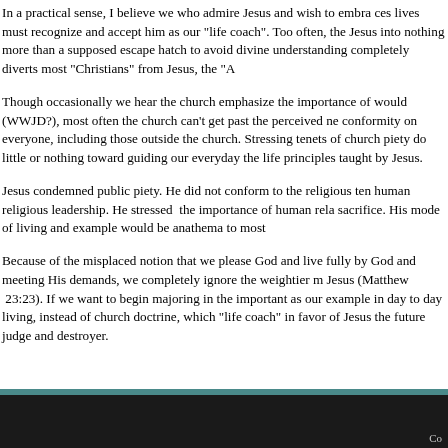In a practical sense, I believe we who admire Jesus and wish to embrace his lives must recognize and accept him as our "life coach". Too often, the Jesus into nothing more than a supposed escape hatch to avoid divine understanding completely diverts most "Christians" from Jesus, the "A
Though occasionally we hear the church emphasize the importance of would (WWJD?), most often the church can't get past the perceived ne conformity on everyone, including those outside the church. Stressing tenets of church piety do little or nothing toward guiding our everyday the life principles taught by Jesus.
Jesus condemned public piety. He did not conform to the religious ten human religious leadership. He stressed the importance of human rela sacrifice. His mode of living and example would be anathema to most
Because of the misplaced notion that we please God and live fully by God and meeting His demands, we completely ignore the weightier m Jesus (Matthew 23:23). If we want to begin majoring in the important as our example in day to day living, instead of church doctrine, which "life coach" in favor of Jesus the future judge and destroyer.
Co